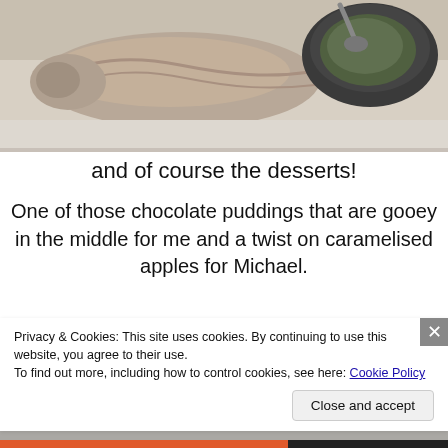[Figure (photo): Top portion of a food photo showing cooked fish/meat and a dark bowl with food, on a light surface]
and of course the desserts!
One of those chocolate puddings that are gooey in the middle for me and a twist on caramelised apples for Michael.
[Figure (photo): Bottom portion of a food photo, blurred/cropped, showing a light surface]
Privacy & Cookies: This site uses cookies. By continuing to use this website, you agree to their use.
To find out more, including how to control cookies, see here: Cookie Policy
Close and accept